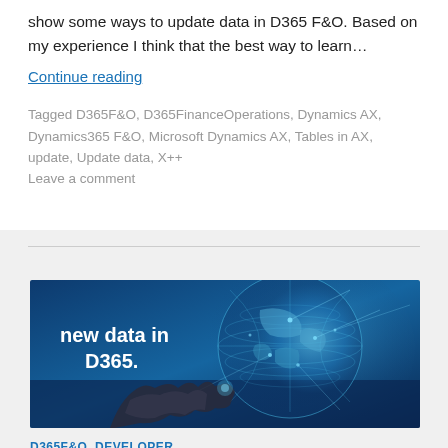show some ways to update data in D365 F&O. Based on my experience I think that the best way to learn…
Continue reading
Tagged D365F&O, D365FinanceOperations, Dynamics AX, Dynamics365 F&O, Microsoft Dynamics AX, Tables in AX, update, Update data, X++
Leave a comment
[Figure (photo): Banner image with text 'new data in D365.' overlaid on a blue-toned digital globe being touched by a hand]
D365F&O, DEVELOPER